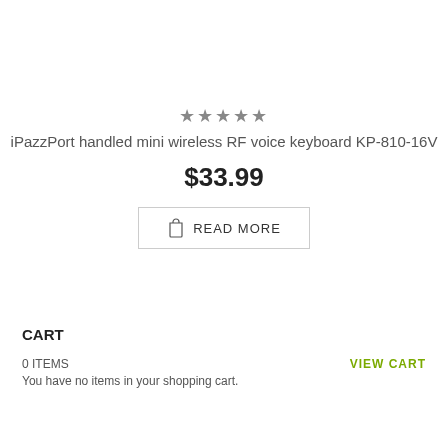★★★★★
iPazzPort handled mini wireless RF voice keyboard KP-810-16V
$33.99
READ MORE
CART
0 ITEMS
You have no items in your shopping cart.
VIEW CART